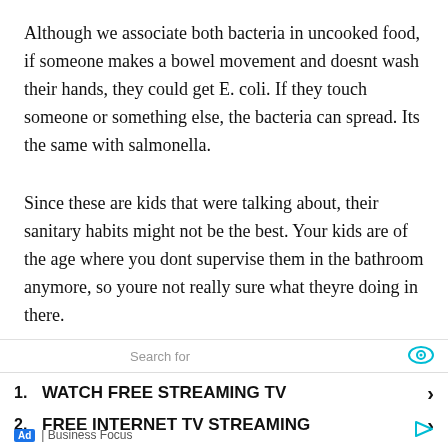Although we associate both bacteria in uncooked food, if someone makes a bowel movement and doesnt wash their hands, they could get E. coli. If they touch someone or something else, the bacteria can spread. Its the same with salmonella.
Since these are kids that were talking about, their sanitary habits might not be the best. Your kids are of the age where you dont supervise them in the bathroom anymore, so youre not really sure what theyre doing in there.
You could set up a rule where the kids have to wash their [text continues below ad]
[Figure (other): Advertisement overlay with search bar reading 'Search for', two ad items: '1. WATCH FREE STREAMING TV' and '2. FREE INTERNET TV STREAMING', both with right arrows, footer showing 'Ad | Business Focus' with an eye icon and play icon.]